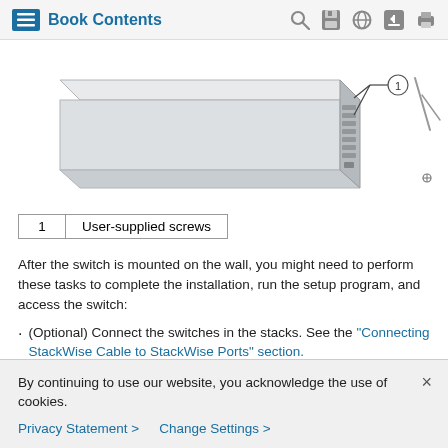Book Contents
[Figure (engineering-diagram): Diagram of a network switch being wall-mounted, showing the rear panel with ports and connectors. A callout line with number 1 points to user-supplied screws on the side panel. A separate image to the right shows a bracket detail.]
|  |  |
| --- | --- |
| 1 | User-supplied screws |
After the switch is mounted on the wall, you might need to perform these tasks to complete the installation, run the setup program, and access the switch:
(Optional) Connect the switches in the stacks. See the "Connecting StackWise Cable to StackWise Ports" section.
Power on the switch. See the "Verifying Switch Operation"
By continuing to use our website, you acknowledge the use of cookies.
Privacy Statement > Change Settings >